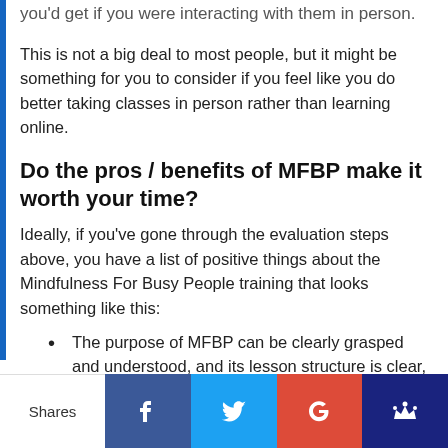you'd get if you were interacting with them in person.
This is not a big deal to most people, but it might be something for you to consider if you feel like you do better taking classes in person rather than learning online.
Do the pros / benefits of MFBP make it worth your time?
Ideally, if you've gone through the evaluation steps above, you have a list of positive things about the Mindfulness For Busy People training that looks something like this:
The purpose of MFBP can be clearly grasped and understood, and its lesson structure is clear, specific, and well organized
Vincent van Overveld |&samhoud media is we”…
Shares | Facebook | Twitter | Google+ | Crown